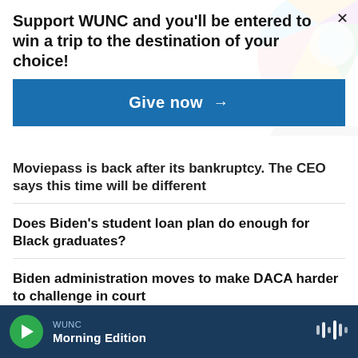[Figure (illustration): Colorful circular graphic with geometric shapes in multiple colors in the top-right corner background]
Support WUNC and you'll be entered to win a trip to the destination of your choice!
Give now →
Moviepass is back after its bankruptcy. The CEO says this time will be different
Does Biden's student loan plan do enough for Black graduates?
Biden administration moves to make DACA harder to challenge in court
WUNC Morning Edition